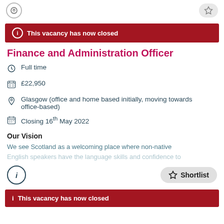This vacancy has now closed
Finance and Administration Officer
Full time
£22,950
Glasgow (office and home based initially, moving towards office-based)
Closing 16th May 2022
Our Vision
We see Scotland as a welcoming place where non-native English speakers have the language skills and confidence to
This vacancy has now closed